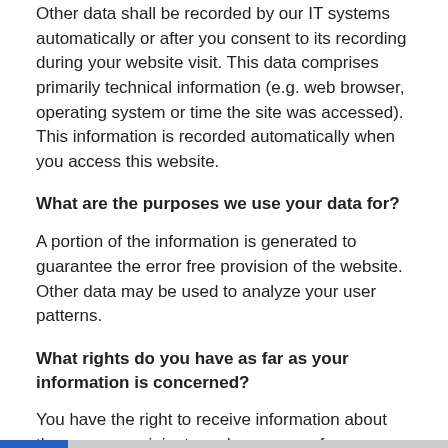Other data shall be recorded by our IT systems automatically or after you consent to its recording during your website visit. This data comprises primarily technical information (e.g. web browser, operating system or time the site was accessed). This information is recorded automatically when you access this website.
What are the purposes we use your data for?
A portion of the information is generated to guarantee the error free provision of the website. Other data may be used to analyze your user patterns.
What rights do you have as far as your information is concerned?
You have the right to receive information about the source, recipients and purposes of your archived personal data at any time without having to pay a fee for such disclosures. You also have the right to demand that your data are